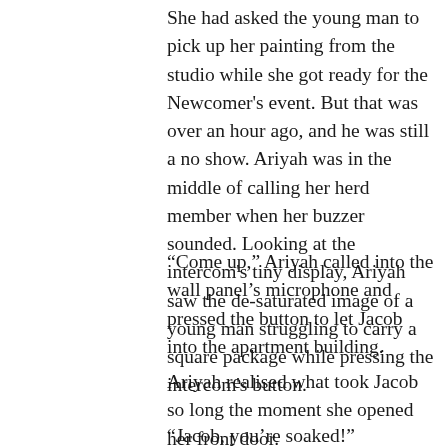She had asked the young man to pick up her painting from the studio while she got ready for the Newcomer's event. But that was over an hour ago, and he was still a no show. Ariyah was in the middle of calling her herd member when her buzzer sounded. Looking at the intercom's tiny display, Ariyah saw the de-saturated image of a young man struggling to carry a square package while pressing the intercom's button.
“Come up,” Ariyah called into the wall panel's microphone and pressed the button to let Jacob into the apartment building.
Ariyah realised what took Jacob so long the moment she opened her front door.
“Jacob, you're soaked!”